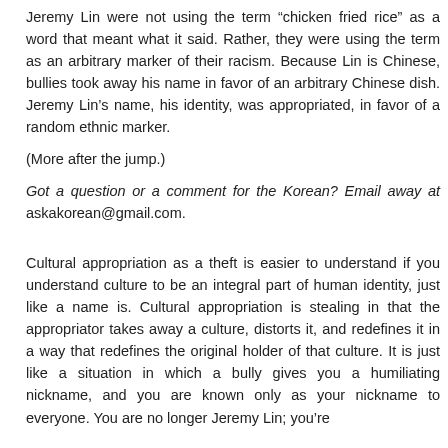Jeremy Lin were not using the term “chicken fried rice” as a word that meant what it said. Rather, they were using the term as an arbitrary marker of their racism. Because Lin is Chinese, bullies took away his name in favor of an arbitrary Chinese dish. Jeremy Lin’s name, his identity, was appropriated, in favor of a random ethnic marker.
(More after the jump.)
Got a question or a comment for the Korean? Email away at askakorean@gmail.com.
Cultural appropriation as a theft is easier to understand if you understand culture to be an integral part of human identity, just like a name is. Cultural appropriation is stealing in that the appropriator takes away a culture, distorts it, and redefines it in a way that redefines the original holder of that culture. It is just like a situation in which a bully gives you a humiliating nickname, and you are known only as your nickname to everyone. You are no longer Jeremy Lin; you’re